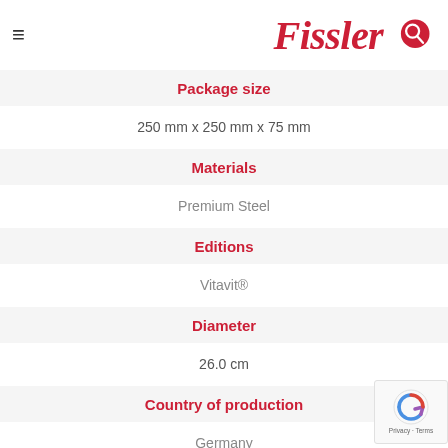Fissler
Package size
250 mm x 250 mm x 75 mm
Materials
Premium Steel
Editions
Vitavit®
Diameter
26.0 cm
Country of production
Germany